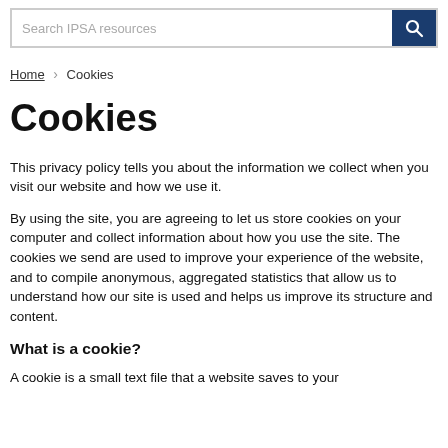Search IPSA resources
Home > Cookies
Cookies
This privacy policy tells you about the information we collect when you visit our website and how we use it.
By using the site, you are agreeing to let us store cookies on your computer and collect information about how you use the site. The cookies we send are used to improve your experience of the website, and to compile anonymous, aggregated statistics that allow us to understand how our site is used and helps us improve its structure and content.
What is a cookie?
A cookie is a small text file that a website saves to your computer when you visit it. The website...